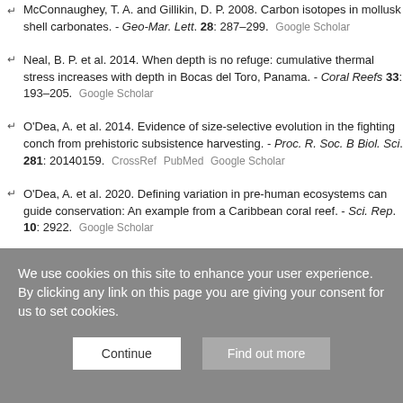McConnaughey, T. A. and Gillikin, D. P. 2008. Carbon isotopes in mollusk shell carbonates. - Geo-Mar. Lett. 28: 287–299. Google Scholar
Neal, B. P. et al. 2014. When depth is no refuge: cumulative thermal stress increases with depth in Bocas del Toro, Panama. - Coral Reefs 33: 193–205. Google Scholar
O'Dea, A. et al. 2014. Evidence of size-selective evolution in the fighting conch from prehistoric subsistence harvesting. - Proc. R. Soc. B Biol. Sci. 281: 20140159. CrossRef PubMed Google Scholar
O'Dea, A. et al. 2020. Defining variation in pre-human ecosystems can guide conservation: An example from a Caribbean coral reef. - Sci. Rep. 10: 2922. Google Scholar
Odum, E. P. 1985. Trends expected in stressed ecosystems. - BioScience 35: 419–422. CrossRef Web of Science Google Scholar
We use cookies on this site to enhance your user experience. By clicking any link on this page you are giving your consent for us to set cookies.